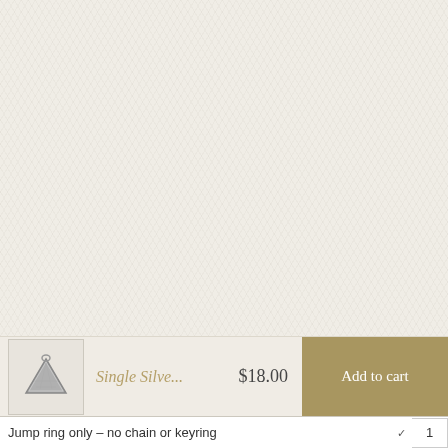[Figure (photo): Large product image area with off-white linen/textile textured background, no product visible (blank/empty product shot area)]
[Figure (photo): Small thumbnail of a silver triangular charm/pendant jewelry piece]
Single Silve...
$18.00
Add to cart
Jump ring only - no chain or keyring
1